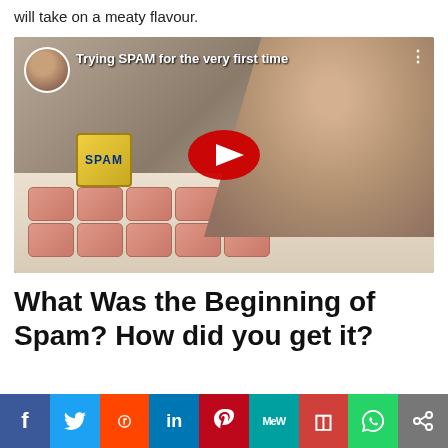will take on a meaty flavour.
[Figure (screenshot): YouTube video thumbnail showing two women with SPAM canned meat product and sliced SPAM pieces on a cutting board. Title reads 'Trying SPAM for the very first time' with a red play button overlay.]
What Was the Beginning of Spam? How did you get it?
[Figure (infographic): Social sharing bar with buttons for Facebook, Twitter, Reddit, LinkedIn, Pinterest, MeWe, Mix, WhatsApp, and a share icon.]